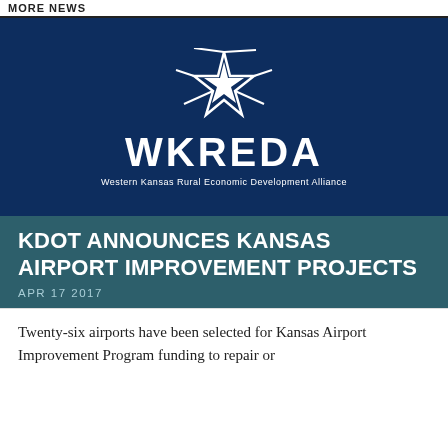MORE NEWS
[Figure (logo): WKREDA logo — white star graphic above bold white text 'WKREDA' on dark navy background, with tagline 'Western Kansas Rural Economic Development Alliance']
KDOT ANNOUNCES KANSAS AIRPORT IMPROVEMENT PROJECTS
APR 17 2017
Twenty-six airports have been selected for Kansas Airport Improvement Program funding to repair or